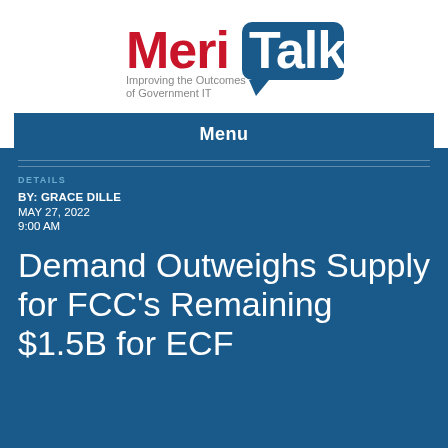[Figure (logo): MeriTalk logo with red 'Meri' and white 'Talk' on dark blue speech bubble background, tagline 'Improving the Outcomes of Government IT' in gray below]
Menu
DETAILS
BY: GRACE DILLE
MAY 27, 2022
9:00 AM
Demand Outweighs Supply for FCC's Remaining $1.5B for ECF